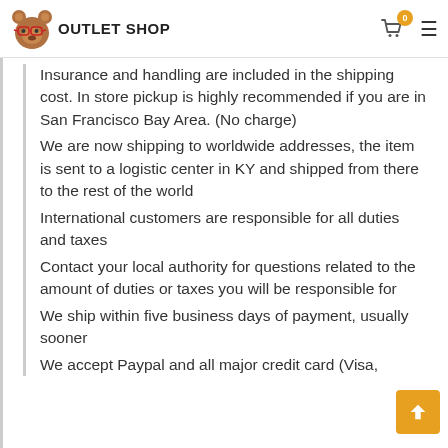OUTLET SHOP
Insurance and handling are included in the shipping cost. In store pickup is highly recommended if you are in San Francisco Bay Area. (No charge)
We are now shipping to worldwide addresses, the item is sent to a logistic center in KY and shipped from there to the rest of the world
International customers are responsible for all duties and taxes
Contact your local authority for questions related to the amount of duties or taxes you will be responsible for
We ship within five business days of payment, usually sooner
We accept Paypal and all major credit card (Visa,